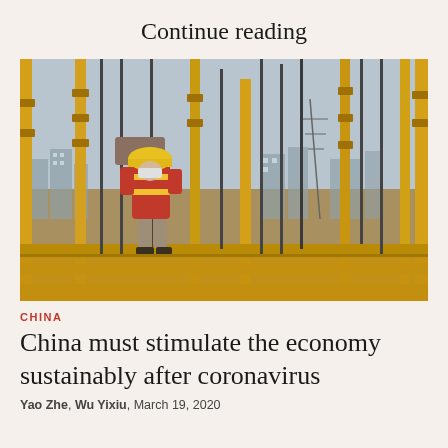Continue reading
[Figure (photo): A construction worker wearing a yellow hard hat, red safety vest, and face mask carrying a load on scaffolding at a building site, with steel rebar rods and yellow scaffolding poles visible, and a city skyline in the background.]
CHINA
China must stimulate the economy sustainably after coronavirus
Yao Zhe, Wu Yixiu, March 19, 2020